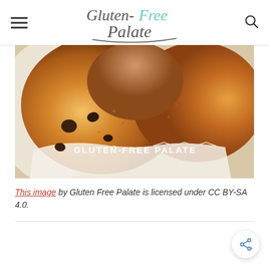Gluten-Free Palate
[Figure (photo): Close-up photograph of gluten-free chocolate chip muffins in paper cups, with watermark text 'GLUTEN-FREE PALATE' in the lower right corner.]
This image by Gluten Free Palate is licensed under CC BY-SA 4.0.